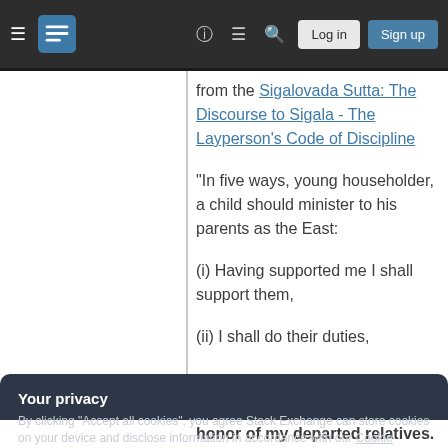Navigation bar with hamburger menu, Stack Exchange logo, help icon, chat icon, search icon, Log in button, Sign up button
from the Sigalovada Sutta: The Discourse to Sigala - The Layperson's Code of Discipline
"In five ways, young householder, a child should minister to his parents as the East:
(i) Having supported me I shall support them,
(ii) I shall do their duties,
Your privacy
By clicking "Accept all cookies", you agree Stack Exchange can store cookies on your device and disclose information in accordance with our Cookie Policy.
Accept all cookies | Customize settings
honor of my departed relatives.[9]